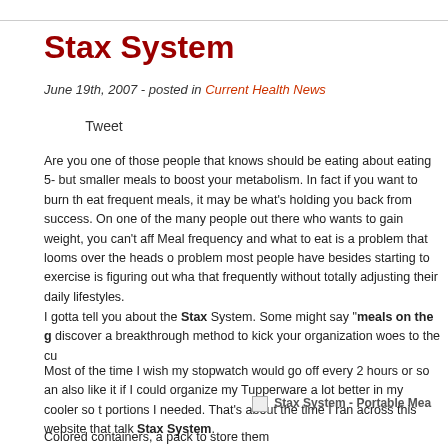Stax System
June 19th, 2007 - posted in Current Health News
Tweet
Are you one of those people that knows should be eating about eating 5- but smaller meals to boost your metabolism. In fact if you want to burn th eat frequent meals, it may be what's holding you back from success. On one of the many people out there who wants to gain weight, you can't aff Meal frequency and what to eat is a problem that looms over the heads o problem most people have besides starting to exercise is figuring out wha that frequently without totally adjusting their daily lifestyles.
I gotta tell you about the Stax System. Some might say "meals on the g discover a breakthrough method to kick your organization woes to the cu
Most of the time I wish my stopwatch would go off every 2 hours or so an also like it if I could organize my Tupperware a lot better in my cooler so t portions I needed. That's about the time I ran across this website that talk Stax System.
[Figure (other): Stax System - Portable Mea (image placeholder)]
Colored containers, a pack to store them